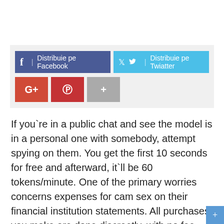[Figure (infographic): Social media share bar with Facebook (dark blue), Twitter (light blue), Google+ (red), Pinterest (red), and more (+) (gray) buttons. Facebook button reads 'Distribuie pe Facebook', Twitter button reads 'Distribuie pe Twiatter'.]
If you're in a public chat and see the model is in a personal one with somebody, attempt spying on them. You get the first 10 seconds for free and afterward, it'll be 60 tokens/minute. One of the primary worries concerns expenses for cam sex on their financial institution statements. All purchases you make are done discreetly, with no fee data saved. With MySexCam costs, you always obtain high quality service. At the moment, it costs $20.ninety nine to purchase 200 tokens on MySexCam. However, if you've just joined and it's your first time shopping